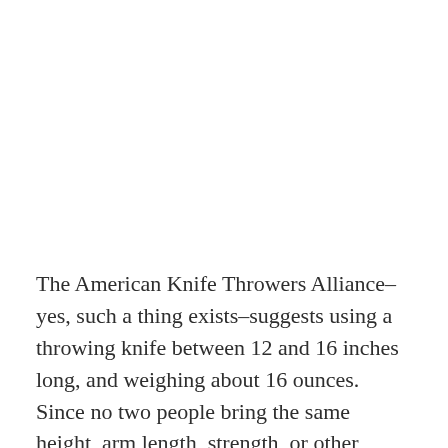The American Knife Throwers Alliance–yes, such a thing exists–suggests using a throwing knife between 12 and 16 inches long, and weighing about 16 ounces. Since no two people bring the same height, arm length, strength, or other physical traits to the knife-throwing motion, there's a lot of trial and error to...